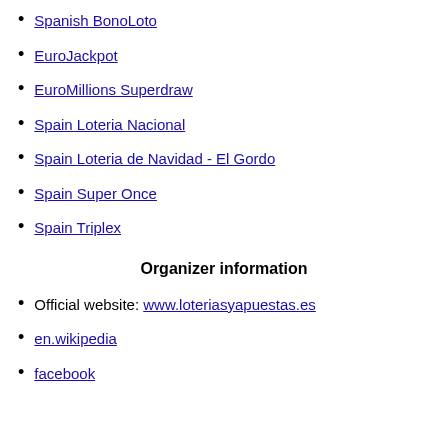Spanish BonoLoto
EuroJackpot
EuroMillions Superdraw
Spain Loteria Nacional
Spain Loteria de Navidad - El Gordo
Spain Super Once
Spain Triplex
Organizer information
Official website: www.loteriasyapuestas.es
en.wikipedia
facebook